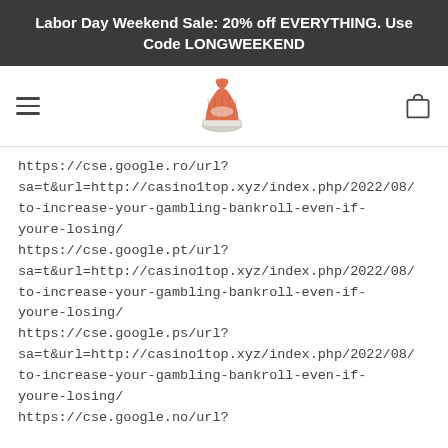Labor Day Weekend Sale: 20% off EVERYTHING. Use Code LONGWEEKEND
[Figure (logo): Orange knit beanie hat logo in center of navigation bar, with hamburger menu on left and shopping bag icon on right]
https://cse.google.ro/url?sa=t&url=http://casino1top.xyz/index.php/2022/08/to-increase-your-gambling-bankroll-even-if-youre-losing/
https://cse.google.pt/url?sa=t&url=http://casino1top.xyz/index.php/2022/08/to-increase-your-gambling-bankroll-even-if-youre-losing/
https://cse.google.ps/url?sa=t&url=http://casino1top.xyz/index.php/2022/08/to-increase-your-gambling-bankroll-even-if-youre-losing/
https://cse.google.no/url?